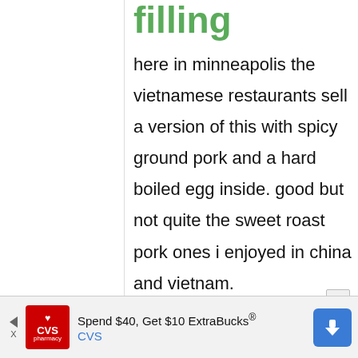filling
here in minneapolis the vietnamese restaurants sell a version of this with spicy ground pork and a hard boiled egg inside. good but not quite the sweet roast pork ones i enjoyed in china and vietnam.
[Figure (other): CVS pharmacy advertisement banner: 'Spend $40, Get $10 ExtraBucks® CVS' with CVS logo and navigation arrow icon]